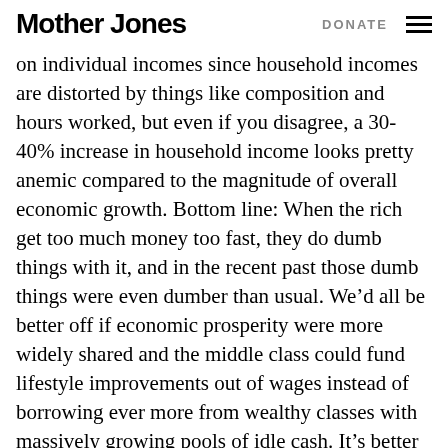Mother Jones   DONATE
on individual incomes since household incomes are distorted by things like composition and hours worked, but even if you disagree, a 30-40% increase in household income looks pretty anemic compared to the magnitude of overall economic growth. Bottom line: When the rich get too much money too fast, they do dumb things with it, and in the recent past those dumb things were even dumber than usual. We’d all be better off if economic prosperity were more widely shared and the middle class could fund lifestyle improvements out of wages instead of borrowing ever more from wealthy classes with massively growing pools of idle cash. It’s better economics, better policy, and just plain better for them.